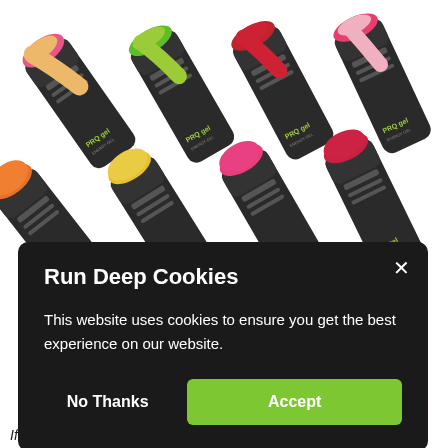[Figure (photo): Eight PRQ gel energy gel tubes arranged in two rows against a white background. Top row shows four tubes with pink/yellow, green, red, and pink-red colors. Bottom row shows four tubes with orange, yellow, pink, and red-pink colors.]
Run Deep Cookies
This website uses cookies to ensure you get the best experience on our website.
No Thanks
Accept
If you're looking for energy gels for runners that are organic